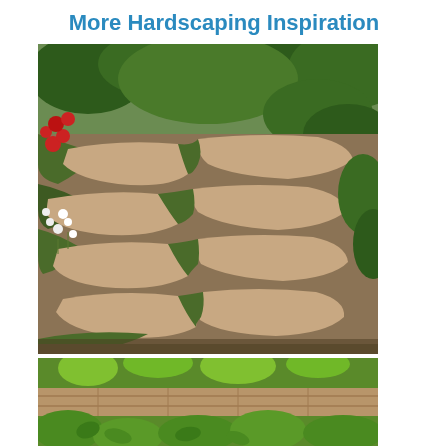More Hardscaping Inspiration
[Figure (photo): Garden path with large irregular sandstone/concrete stepping stones separated by low creeping grass or groundcover, flanked by red flowers and white wildflowers on the left and green shrubs in the background.]
[Figure (photo): Close-up of stone pavers or terrace brickwork surrounded by lush green leafy plants and shrubs.]